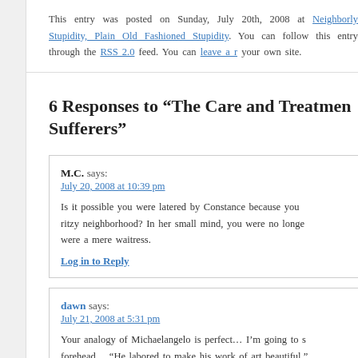This entry was posted on Sunday, July 20th, 2008 at Neighborly Stupidity, Plain Old Fashioned Stupidity. You can follow this entry through the RSS 2.0 feed. You can leave a response, or trackback from your own site.
6 Responses to “The Care and Treatment of Sufferers”
M.C. says: July 20, 2008 at 10:39 pm
Is it possible you were latered by Constance because you moved to a ritzy neighborhood? In her small mind, you were no longer a friend, you were a mere waitress.
Log in to Reply
dawn says: July 21, 2008 at 5:31 pm
Your analogy of Michaelangelo is perfect… I’m going to s… forehead… “He labored to make his work of art beautiful.”